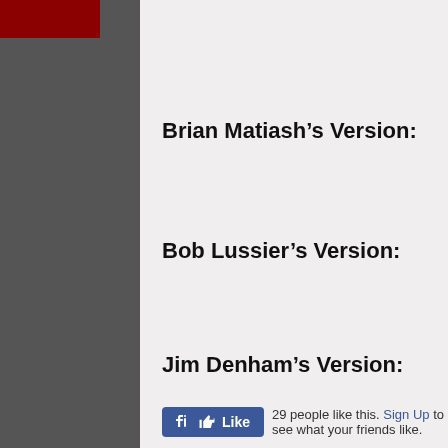Brian Matiash’s Version:
Bob Lussier’s Version:
Jim Denham’s Version:
29 people like this. Sign Up to see what your friends like.